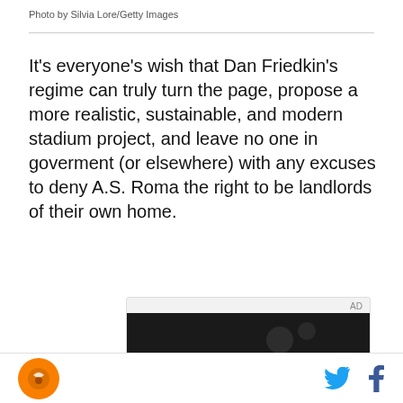Photo by Silvia Lore/Getty Images
It’s everyone’s wish that Dan Friedkin’s regime can truly turn the page, propose a more realistic, sustainable, and modern stadium project, and leave no one in goverment (or elsewhere) with any excuses to deny A.S. Roma the right to be landlords of their own home.
[Figure (photo): Advertisement block with dark background image showing a hand holding a device]
Logo and social media icons (Twitter, Facebook)